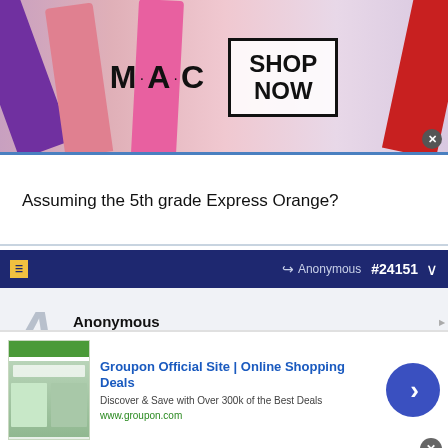[Figure (photo): MAC cosmetics advertisement banner showing colorful lipsticks and SHOP NOW button]
Assuming the 5th grade Express Orange?
Anonymous #24151
Anonymous
Unregistered
Originally Posted by Anonymous
Originally Posted by Anonymous
part of the 5th grade express
[Figure (screenshot): Groupon advertisement: Groupon Official Site | Online Shopping Deals. Discover & Save with Over 300k of the Best Deals. www.groupon.com]